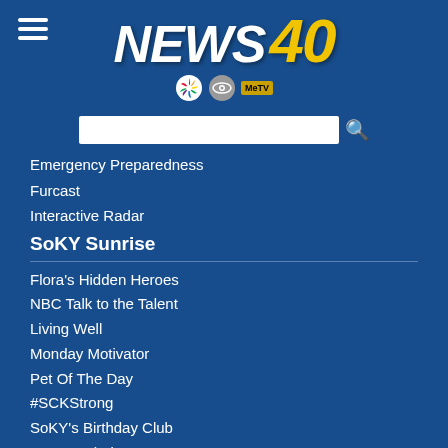[Figure (logo): NEWS 40 logo with NBC Peacock, CBS Eye, and MeTV icons]
Emergency Preparedness
Furcast
Interactive Radar
SoKY Sunrise
Flora's Hidden Heroes
NBC Talk to the Talent
Living Well
Monday Motivator
Pet Of The Day
#SCKStrong
SoKY's Birthday Club
SoKY's Choice
SoKY Speaks
Sunrise Spotlight
Throwback Thursday
Voices of Honor
What's Happening SoKY
Workout Wednesday
SoKY @ Noon